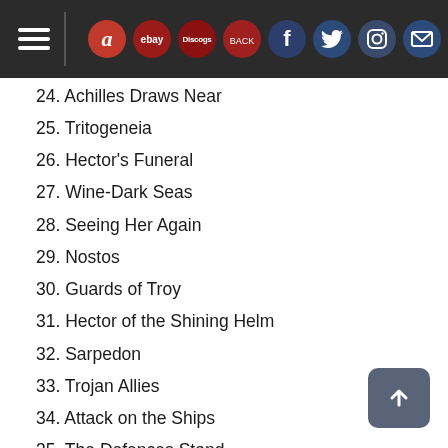Navigation header with hamburger menu and social/shopping icons
24. Achilles Draws Near
25. Tritogeneia
26. Hector's Funeral
27. Wine-Dark Seas
28. Seeing Her Again
29. Nostos
30. Guards of Troy
31. Hector of the Shining Helm
32. Sarpedon
33. Trojan Allies
34. Attack on the Ships
35. The Defences Stand
36. Father Zeus
37. Ruling from Ida
38. Ares Enyalios
39. Athena with the Stormy Aegis
40. Apollo of the Silver Bow
41. Argive Hera
42. No One Escapes Fate
43. Judgement of Paris